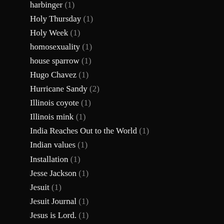harbinger (1)
Holy Thursday (1)
Holy Week (1)
homosexuality (1)
house sparrow (1)
Hugo Chavez (1)
Hurricane Sandy (2)
Illinois coyote (1)
Illinois mink (1)
India Reaches Out to the World (1)
Indian values (1)
Installation (1)
Jesse Jackson (1)
Jesuit (1)
Jesuit Journal (1)
Jesus is Lord. (1)
John 3:16 (1)
John Keats (1)